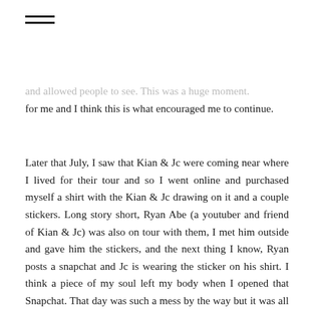≡ (hamburger menu icon)
...and allowed people to see. This was a huge moment for me and I think this is what encouraged me to continue.
Later that July, I saw that Kian & Jc were coming near where I lived for their tour and so I went online and purchased myself a shirt with the Kian & Jc drawing on it and a couple stickers. Long story short, Ryan Abe (a youtuber and friend of Kian & Jc) was also on tour with them, I met him outside and gave him the stickers, and the next thing I know, Ryan posts a snapchat and Jc is wearing the sticker on his shirt. I think a piece of my soul left my body when I opened that Snapchat. That day was such a mess by the way but it was all worth it at the end. Let me know on my social media accounts if you want to hear the whole story of that day because it's another eventful story for another blog post that you don't want to miss out on.